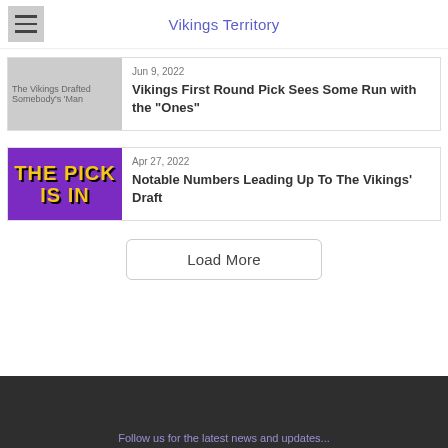Vikings Territory
[Figure (photo): Placeholder image for article about The Vikings Drafted Somebody's 'Man]
Jun 9, 2022
Vikings First Round Pick Sees Some Run with the "Ones"
[Figure (photo): Purple background image with yellow text reading THE PICK IS IN]
Apr 27, 2022
Notable Numbers Leading Up To The Vikings' Draft
Load More
Follow us for the latest news and updates...